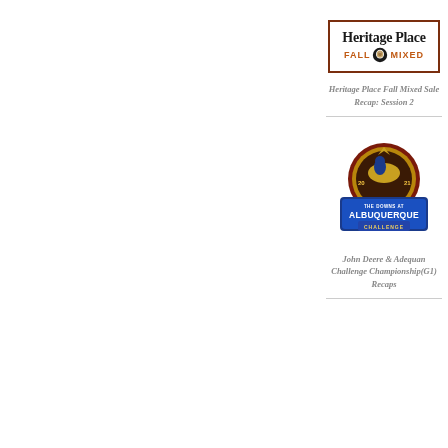[Figure (logo): Heritage Place Fall Mixed Sale logo with brown border, serif text 'Heritage Place' and orange text 'FALL MIXED' with eagle icon]
Heritage Place Fall Mixed Sale Recap: Session 2
[Figure (logo): The Downs at Albuquerque 2021 Challenge Championship logo with jockey on horse and blue banner]
John Deere & Adequan Challenge Championship(G1) Recaps